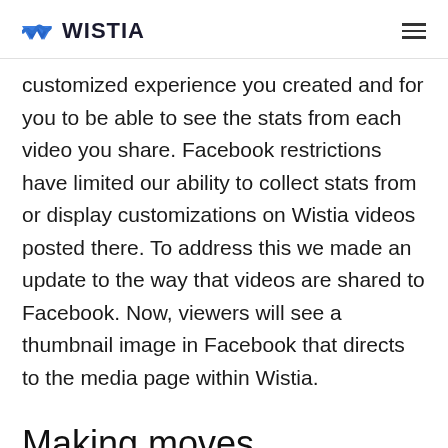WISTIA
customized experience you created and for you to be able to see the stats from each video you share. Facebook restrictions have limited our ability to collect stats from or display customizations on Wistia videos posted there. To address this we made an update to the way that videos are shared to Facebook. Now, viewers will see a thumbnail image in Facebook that directs to the media page within Wistia.
Making moves